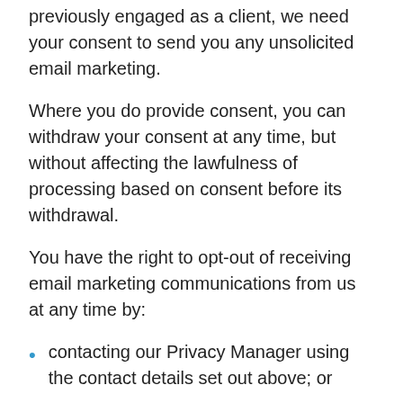previously engaged as a client, we need your consent to send you any unsolicited email marketing.
Where you do provide consent, you can withdraw your consent at any time, but without affecting the lawfulness of processing based on consent before its withdrawal.
You have the right to opt-out of receiving email marketing communications from us at any time by:
contacting our Privacy Manager using the contact details set out above; or
using the “unsubscribe” link in emails.
INTERNATIONAL TRANSFERS